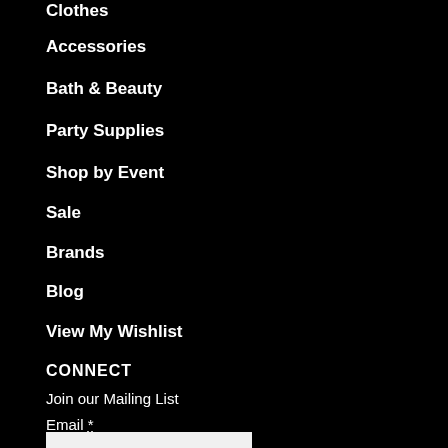Clothes
Accessories
Bath & Beauty
Party Supplies
Shop by Event
Sale
Brands
Blog
View My Wishlist
CONNECT
Join our Mailing List
Email *